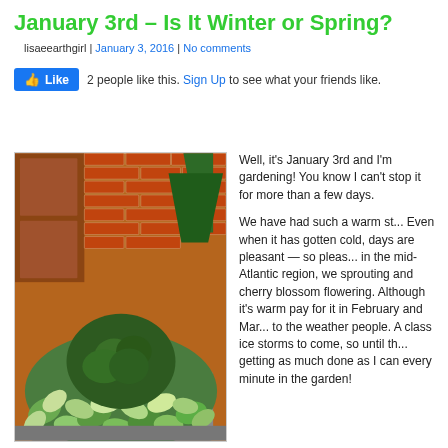January 3rd – Is It Winter or Spring?
lisaeearthgirl | January 3, 2016 | No comments
2 people like this. Sign Up to see what your friends like.
[Figure (photo): A planter with variegated ivy surrounding a clipped boxwood shrub, in front of a brick wall and wooden door]
Well, it's January 3rd and I'm gardening! You know I can't stop it for more than a few days.

We have had such a warm st... Even when it has gotten cold, days are pleasant — so pleas... in the mid-Atlantic region, we sprouting and cherry blossom flowering. Although it's warm pay for it in February and Mar... to the weather people. A class ice storms to come, so until th... getting as much done as I can every minute in the garden!